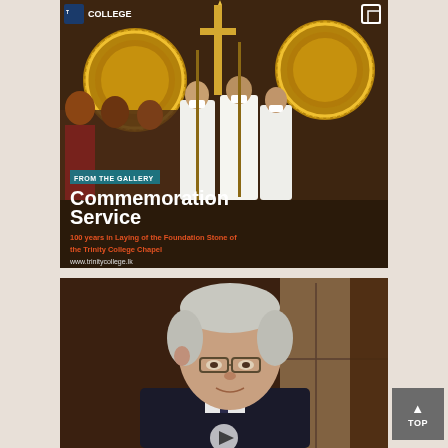[Figure (photo): A religious commemoration service procession inside a chapel or church. Young men in white robes wearing masks carry large ornate circular golden decorations and a tall golden cross. Text overlay reads 'FROM THE GALLERY' in a teal banner, 'Commemoration Service' in large white bold text, '100 years in Laying of the Foundation Stone of the Trinity College Chapel' in red/orange text, and 'www.trinitycollege.lk' in white. A Trinity College logo and a square icon appear at the top. Background shows the interior of a chapel with attendees.]
[Figure (photo): A close-up photo of an elderly man with grey/white hair and glasses, wearing a dark suit. He appears to be speaking or presenting. A blurred window and curtains are visible in the background. A play button icon is partially visible at the bottom.]